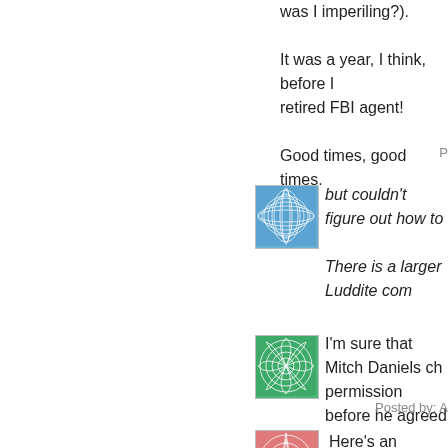was I imperiling?).
It was a year, I think, before I retired FBI agent!
Good times, good times.
P
[Figure (illustration): Blue geometric spiral pattern avatar icon]
but couldn't figure out how to
There is a larger Luddite com
[Figure (illustration): Green spiral/sunburst pattern avatar icon]
I'm sure that Mitch Daniels ch permission before he agreed
Posted by: A
[Figure (illustration): Red/pink geometric star pattern avatar icon]
Here's an antidote to the bla
[Figure (illustration): Gray/blue geometric star pattern avatar icon]
.. go to debtor prison....